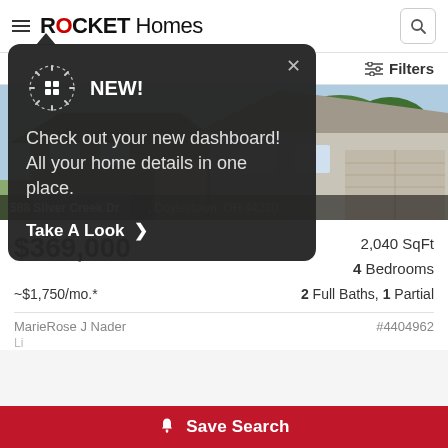ROCKET Homes
NEW! Check out your new dashboard! All your home details in one place. Take A Look >
[Figure (photo): Exterior photo of a suburban house with two-car garage, gray siding, and trees in background. Address bar reads: 588 Silver Creek Dr, Doylestown, OH 44230]
$369,000  2,040 SqFt  4 Bedrooms
~$1,750/mo.*  2 Full Baths, 1 Partial
MarieRose J Nader  #4404962
Save Search